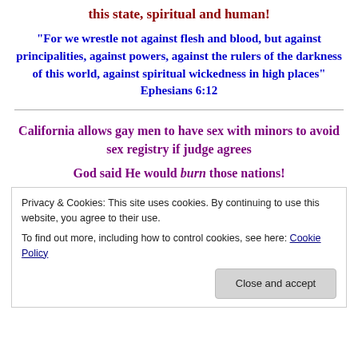this state, spiritual and human!
“For we wrestle not against flesh and blood, but against principalities, against powers, against the rulers of the darkness of this world, against spiritual wickedness in high places” Ephesians 6:12
California allows gay men to have sex with minors to avoid sex registry if judge agrees
God said He would burn those nations!
Privacy & Cookies: This site uses cookies. By continuing to use this website, you agree to their use.
To find out more, including how to control cookies, see here: Cookie Policy
Close and accept